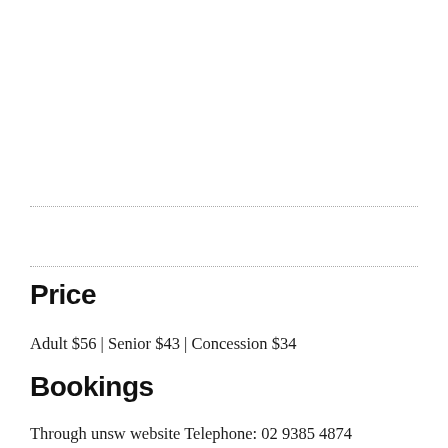Price
Adult $56 | Senior $43 | Concession $34
Bookings
Through unsw website Telephone: 02 9385 4874